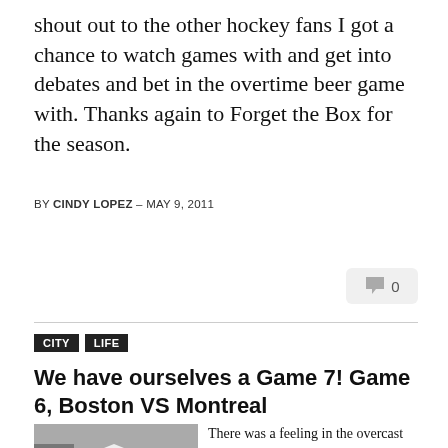shout out to the other hockey fans I got a chance to watch games with and get into debates and bet in the overtime beer game with. Thanks again to Forget the Box for the season.
BY CINDY LOPEZ – MAY 9, 2011
[Figure (other): Speech bubble comment count icon showing 0]
CITY   LIFE
We have ourselves a Game 7! Game 6, Boston VS Montreal
[Figure (photo): Crowd of people in red Montreal Canadiens jerseys gathered outside the Bell Centre]
There was a feeling in the overcast air at the Bell Centre last night. It was elimination time for the Mon...